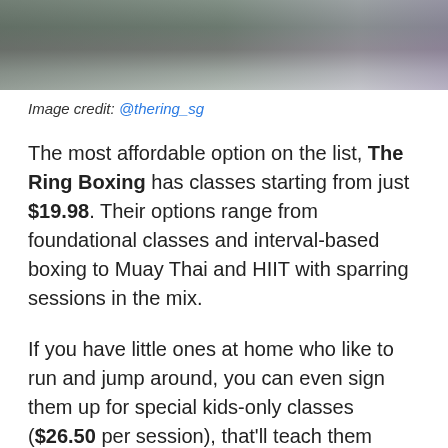[Figure (photo): Cropped photo of boxing gym scene with people training in a ring, partial view of torsos and legs]
Image credit: @thering_sg
The most affordable option on the list, The Ring Boxing has classes starting from just $19.98. Their options range from foundational classes and interval-based boxing to Muay Thai and HIIT with sparring sessions in the mix.
If you have little ones at home who like to run and jump around, you can even sign them up for special kids-only classes ($26.50 per session), that'll teach them skills like boxing and Muay Thai. Not only will they get a kickass workout with